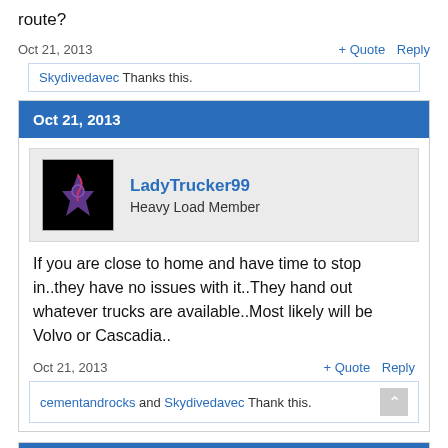route?
Oct 21, 2013
+ Quote   Reply
Skydivedavec Thanks this.
Oct 21, 2013
LadyTrucker99
Heavy Load Member
If you are close to home and have time to stop in..they have no issues with it..They hand out whatever trucks are available..Most likely will be Volvo or Cascadia..
Oct 21, 2013
+ Quote   Reply
cementandrocks and Skydivedavec Thank this.
Oct 21, 2013